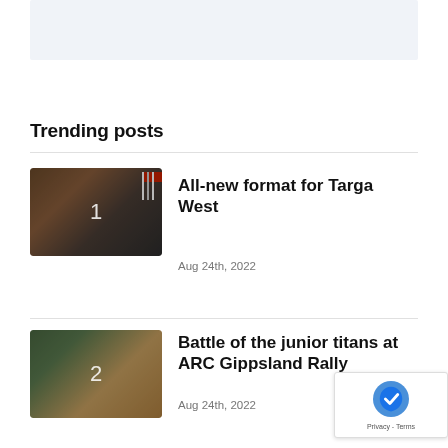[Figure (other): Light blue/grey banner placeholder rectangle at top of page]
Trending posts
[Figure (photo): Rally car on dirt track with colorful event flags in background, numbered 1]
All-new format for Targa West
Aug 24th, 2022
[Figure (photo): White rally car kicking up dust on dirt road with trees in background, numbered 2]
Battle of the junior titans at ARC Gippsland Rally
Aug 24th, 2022